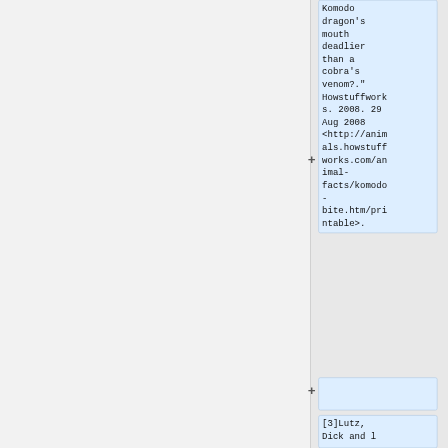Komodo dragon's mouth deadlier than a cobra's venom?.". Howstuffworks. 2008. 29 Aug 2008 <http://animals.howstuffworks.com/animal-facts/komodo-bite.htm/printable>.
[3]Lutz, Dick and l